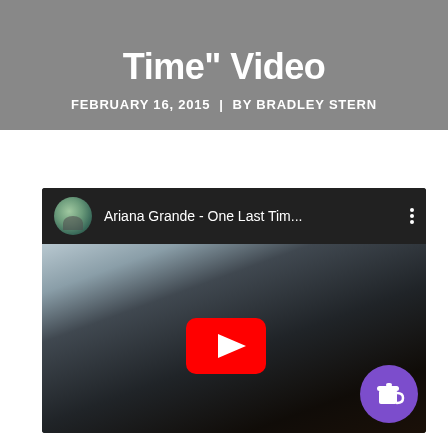Time" Video
FEBRUARY 16, 2015 | BY BRADLEY STERN
[Figure (screenshot): YouTube embedded video player showing Ariana Grande - One Last Tim... with a dark silhouette image and a red YouTube play button in the center. A purple Ko-fi button appears in the bottom right.]